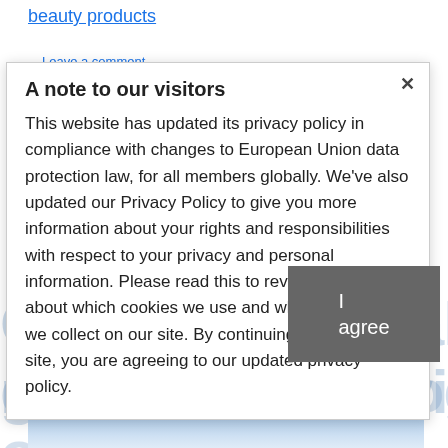beauty products
Leave a comment
A note to our visitors
This website has updated its privacy policy in compliance with changes to European Union data protection law, for all members globally. We've also updated our Privacy Policy to give you more information about your rights and responsibilities with respect to your privacy and personal information. Please read this to review the updates about which cookies we use and what information we collect on our site. By continuing to use this site, you are agreeing to our updated privacy policy.
I agree
August 30, 2022 by benzinedbiaeddineoriginal